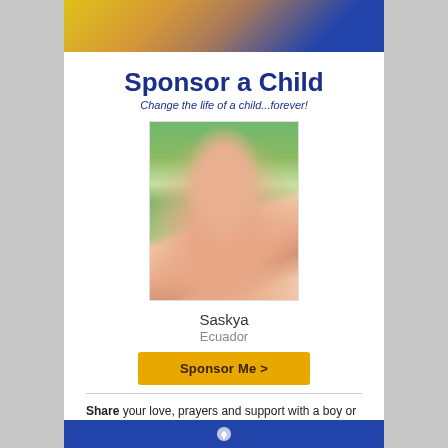[Figure (photo): Top banner with blue background and partial photo of a child]
Sponsor a Child
Change the life of a child...forever!
[Figure (photo): Photo of a young girl named Saskya from Ecuador, wearing a pink dress and floral crown, standing in front of plants]
Saskya
Ecuador
Sponsor Me >
Share your love, prayers and support with a boy or girl who lives in poverty. Children are waiting now.
Learn more about sponsoring a child.
View more photos of children.